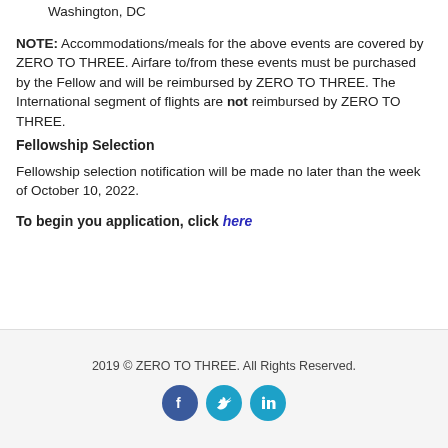Fellowship Graduation – Late Spring 2024 (Dates TBD)
Washington, DC
NOTE: Accommodations/meals for the above events are covered by ZERO TO THREE. Airfare to/from these events must be purchased by the Fellow and will be reimbursed by ZERO TO THREE. The International segment of flights are not reimbursed by ZERO TO THREE.
Fellowship Selection
Fellowship selection notification will be made no later than the week of October 10, 2022.
To begin you application, click here
2019 © ZERO TO THREE. All Rights Reserved.